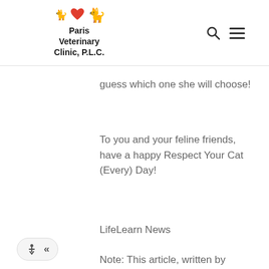Paris Veterinary Clinic, P.L.C.
guess which one she will choose!
To you and your feline friends, have a happy Respect Your Cat (Every) Day!
LifeLearn News
Note: This article, written by LifeLearn Animal Health (LifeLearn Inc.) is licensed to this practice for the...